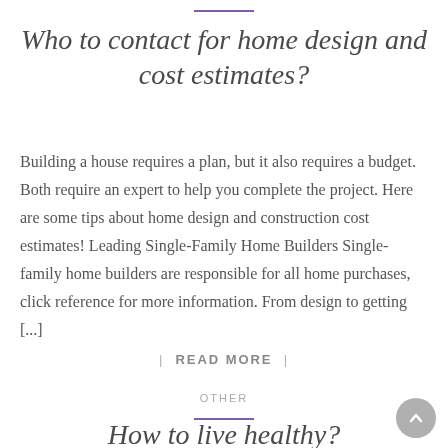Who to contact for home design and cost estimates?
Building a house requires a plan, but it also requires a budget. Both require an expert to help you complete the project. Here are some tips about home design and construction cost estimates! Leading Single-Family Home Builders Single-family home builders are responsible for all home purchases, click reference for more information. From design to getting [...]
| READ MORE |
OTHER
How to live healthy?